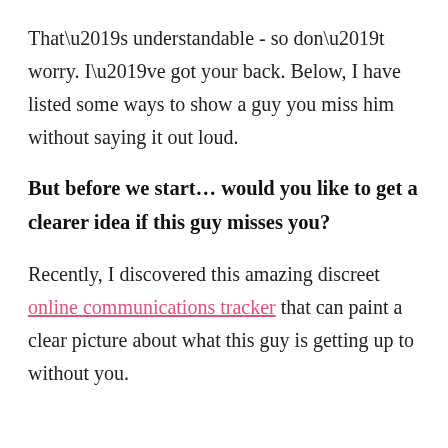That’s understandable - so don’t worry. I’ve got your back. Below, I have listed some ways to show a guy you miss him without saying it out loud.
But before we start… would you like to get a clearer idea if this guy misses you?
Recently, I discovered this amazing discreet online communications tracker that can paint a clear picture about what this guy is getting up to without you.